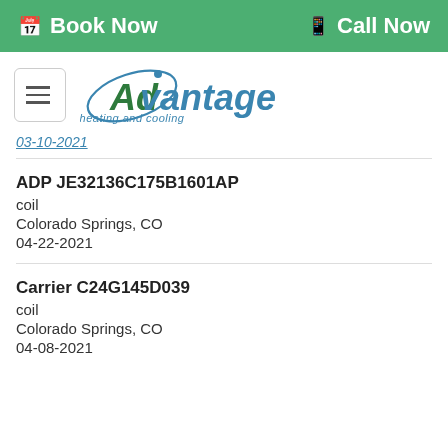Book Now   Call Now
[Figure (logo): Advantage heating and cooling logo with orbit swoosh graphic]
03-10-2021
ADP JE32136C175B1601AP
coil
Colorado Springs, CO
04-22-2021
Carrier C24G145D039
coil
Colorado Springs, CO
04-08-2021